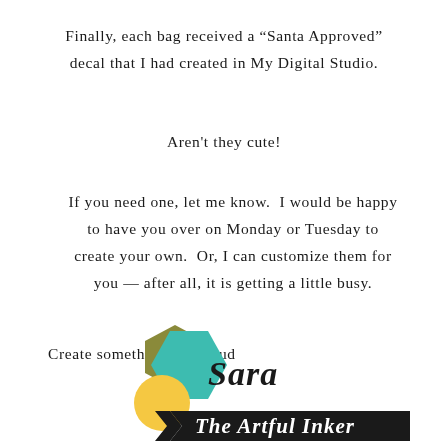Finally, each bag received a “Santa Approved” decal that I had created in My Digital Studio.
Aren't they cute!
If you need one, let me know.  I would be happy to have you over on Monday or Tuesday to create your own.  Or, I can customize them for you — after all, it is getting a little busy.
Create something today,sud
[Figure (logo): Logo for 'Sara The Artful Inker' featuring a teal hexagon, olive/gold hexagon, yellow circle, and a dark banner ribbon with the text 'The Artful Inker' in script/italic, and 'Sara' in cursive script above.]